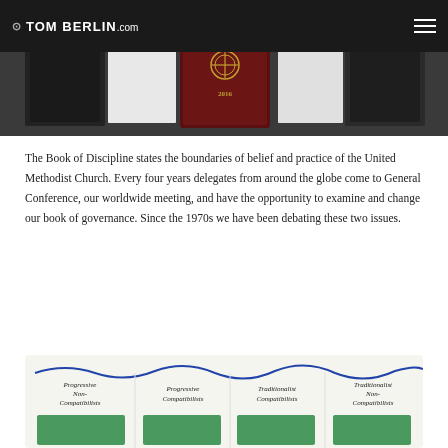TOM BERLIN.com
[Figure (photo): Photo of the Book of Discipline 2016 of the United Methodist Church, displayed against a dark background with other books.]
The Book of Discipline states the boundaries of belief and practice of the United Methodist Church. Every four years delegates from around the globe come to General Conference, our worldwide meeting, and have the opportunity to examine and change our book of governance. Since the 1970s we have been debating these two issues.
[Figure (photo): Whiteboard or paper diagram showing four categories: Progressive Non-Compatibilists, Progressive Compatibilists, Traditionalist Compatibilists, Traditionalist Non-Compatibilists, each with green cards below.]